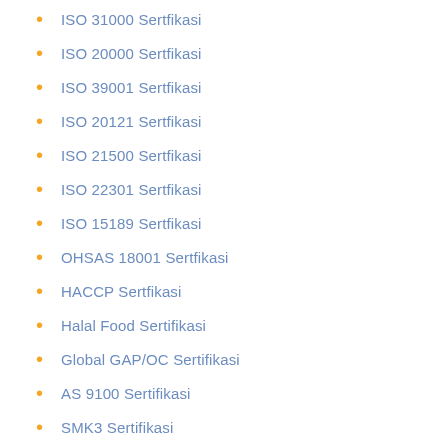ISO 31000 Sertfikasi
ISO 20000 Sertfikasi
ISO 39001 Sertfikasi
ISO 20121 Sertfikasi
ISO 21500 Sertfikasi
ISO 22301 Sertfikasi
ISO 15189 Sertfikasi
OHSAS 18001 Sertfikasi
HACCP Sertfikasi
Halal Food Sertifikasi
Global GAP/OC Sertifikasi
AS 9100 Sertifikasi
SMK3 Sertifikasi
Proses Sertifikasi